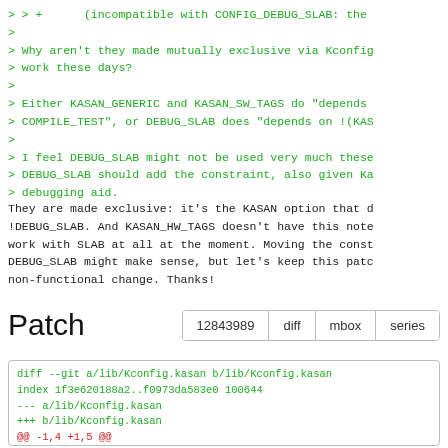> > +      (incompatible with CONFIG_DEBUG_SLAB: the
>
> Why aren't they made mutually exclusive via Kconfig
> work these days?
>
> Either KASAN_GENERIC and KASAN_SW_TAGS do "depends
> COMPILE_TEST", or DEBUG_SLAB does "depends on !(KAS
>
> I feel DEBUG_SLAB might not be used very much these
> DEBUG_SLAB should add the constraint, also given Ka
> debugging aid.
They are made exclusive: it's the KASAN option that d
!DEBUG_SLAB. And KASAN_HW_TAGS doesn't have this note
work with SLAB at all at the moment. Moving the const
DEBUG_SLAB might make sense, but let's keep this patc
non-functional change. Thanks!
Patch
| 12843989 | diff | mbox | series |
| --- | --- | --- | --- |
diff --git a/lib/Kconfig.kasan b/lib/Kconfig.kasan
index 1f3e620188a2..f0973da583e0 100644
--- a/lib/Kconfig.kasan
+++ b/lib/Kconfig.kasan
@@ -1,4 +1,5 @@
 # SPDX-License-Identifier: GPL-2.0-only
+
 # This config refers to the generic KASAN mode.
 config HAVE_ARCH_KASAN